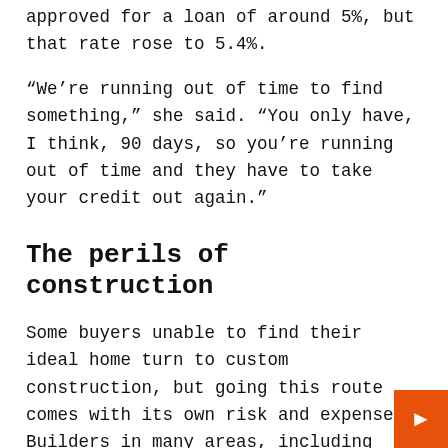approved for a loan of around 5%, but that rate rose to 5.4%.
“We’re running out of time to find something,” she said. “You only have, I think, 90 days, so you’re running out of time and they have to take your credit out again.”
The perils of construction
Some buyers unable to find their ideal home turn to custom construction, but going this route comes with its own risk and expense. Builders in many areas, including Madison County, are still grappling with pandemic-related issues, including labor shortages among contractors and backlogs